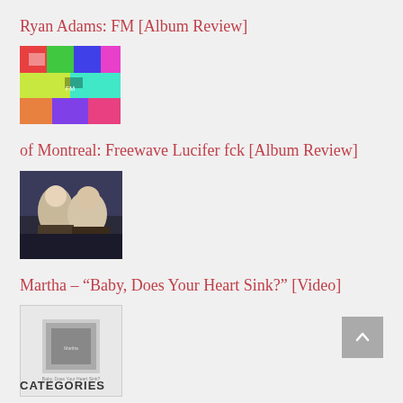Ryan Adams: FM [Album Review]
[Figure (photo): Colorful album art thumbnail for Ryan Adams FM]
of Montreal: Freewave Lucifer fck [Album Review]
[Figure (photo): Photo of two people sitting, thumbnail for of Montreal Freewave Lucifer fck]
Martha – “Baby, Does Your Heart Sink?” [Video]
[Figure (photo): Small black and white album thumbnail for Martha]
Tony Molina: In The Fade [Album Review]
CATEGORIES